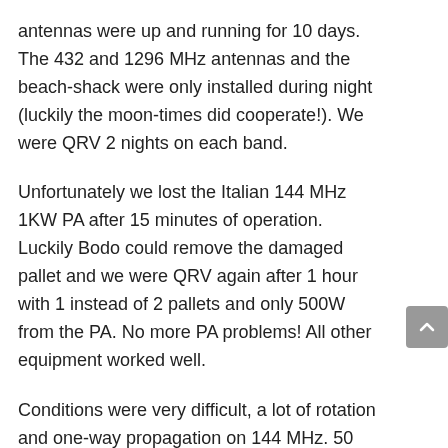antennas were up and running for 10 days. The 432 and 1296 MHz antennas and the beach-shack were only installed during night (luckily the moon-times did cooperate!). We were QRV 2 nights on each band.
Unfortunately we lost the Italian 144 MHz 1KW PA after 15 minutes of operation. Luckily Bodo could remove the damaged pallet and we were QRV again after 1 hour with 1 instead of 2 pallets and only 500W from the PA. No more PA problems! All other equipment worked well.
Conditions were very difficult, a lot of rotation and one-way propagation on 144 MHz. 50 MHz was limited to moon-rise and moon-set due to no elevation capabilities and of course our 400W at the dipole was not really QRO. We did decode many more stations than we could work. On 432 and 1296 we expected to work more stations, but conditions